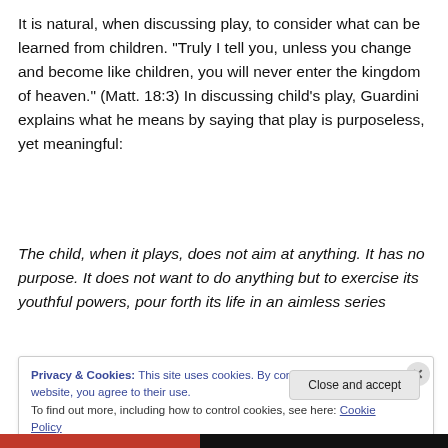It is natural, when discussing play, to consider what can be learned from children. “Truly I tell you, unless you change and become like children, you will never enter the kingdom of heaven.” (Matt. 18:3) In discussing child’s play, Guardini explains what he means by saying that play is purposeless, yet meaningful:
The child, when it plays, does not aim at anything. It has no purpose. It does not want to do anything but to exercise its youthful powers, pour forth its life in an aimless series
Privacy & Cookies: This site uses cookies. By continuing to use this website, you agree to their use.
To find out more, including how to control cookies, see here: Cookie Policy
Close and accept